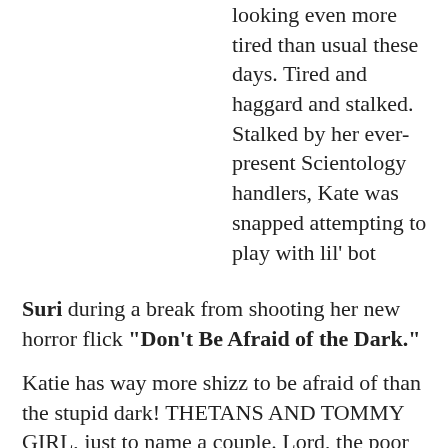looking even more tired than usual these days. Tired and haggard and stalked. Stalked by her ever-present Scientology handlers, Kate was snapped attempting to play with lil' bot Suri during a break from shooting her new horror flick “Don’t Be Afraid of the Dark.”
Katie has way more shizz to be afraid of than the stupid dark! THETANS AND TOMMY GIRL, just to name a couple. Lord, the poor thing has aged 20